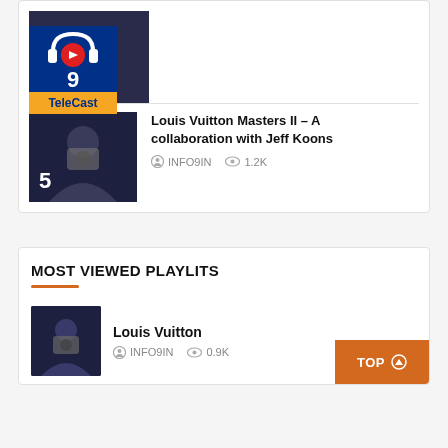[Figure (screenshot): Thumbnail image of person holding camera, dark background, with TeleCast logo overlay]
[Figure (logo): TeleCast logo: blue background with red play button and headphones icon, yellow bar with TeleCast text]
Louis Vuitton Masters II – A collaboration with Jeff Koons
INFO9IN   1.2K
MOST VIEWED PLAYLITS
[Figure (photo): Thumbnail of person holding camera]
Louis Vuitton
INFO9IN   0.9K
TOP